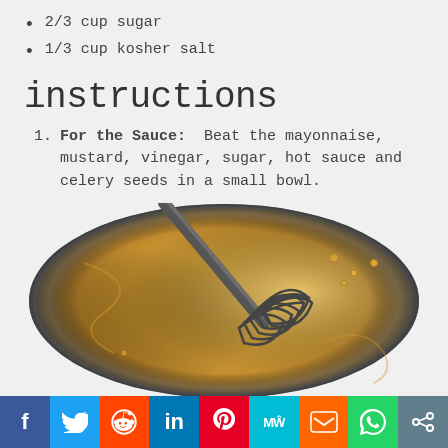2/3 cup sugar
1/3 cup kosher salt
instructions
For the Sauce: Beat the mayonnaise, mustard, vinegar, sugar, hot sauce and celery seeds in a small bowl.
[Figure (photo): A whisk mixing a creamy yellow/mustard-colored sauce in a metal bowl, viewed from above.]
Social sharing bar: Facebook, Twitter, Reddit, LinkedIn, Pinterest, MW, Mix, WhatsApp, Share